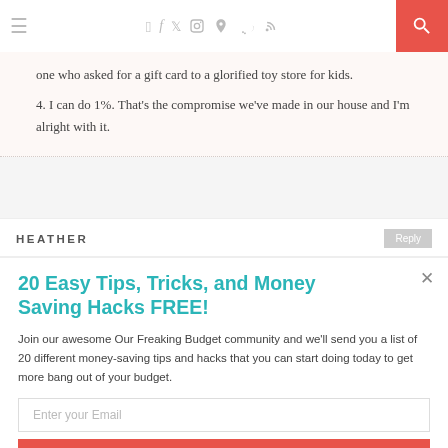≡  f  t  ◻  ℗  ♥  RSS  [search]
one who asked for a gift card to a glorified toy store for kids.
4. I can do 1%. That's the compromise we've made in our house and I'm alright with it.
HEATHER   Reply
20 Easy Tips, Tricks, and Money Saving Hacks FREE!
Join our awesome Our Freaking Budget community and we'll send you a list of 20 different money-saving tips and hacks that you can start doing today to get more bang out of your budget.
Enter your Email
Sign Me Up!